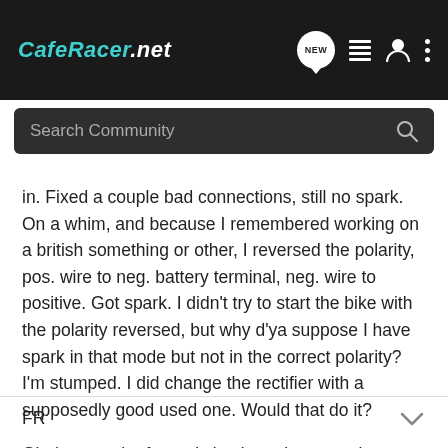CafeRacer.net [navigation icons: NEW, list, user, more]
Search Community
in. Fixed a couple bad connections, still no spark. On a whim, and because I remembered working on a british something or other, I reversed the polarity, pos. wire to neg. battery terminal, neg. wire to positive. Got spark. I didn't try to start the bike with the polarity reversed, but why d'ya suppose I have spark in that mode but not in the correct polarity? I'm stumped. I did change the rectifier with a supposedly good used one. Would that do it?

Glad to see the forum is back up. I was getting bored...

FR
FR